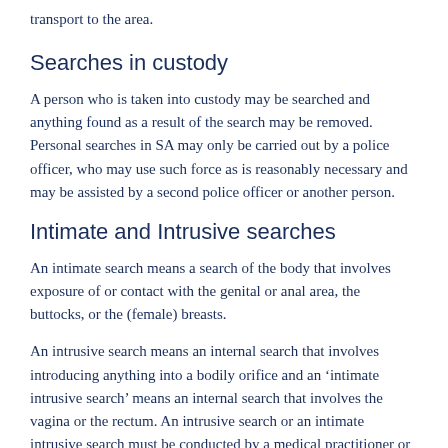transport to the area.
Searches in custody
A person who is taken into custody may be searched and anything found as a result of the search may be removed. Personal searches in SA may only be carried out by a police officer, who may use such force as is reasonably necessary and may be assisted by a second police officer or another person.
Intimate and Intrusive searches
An intimate search means a search of the body that involves exposure of or contact with the genital or anal area, the buttocks, or the (female) breasts.
An intrusive search means an internal search that involves introducing anything into a bodily orifice and an ‘intimate intrusive search’ means an internal search that involves the vagina or the rectum. An intrusive search or an intimate intrusive search must be conducted by a medical practitioner or registered nurse, and the detainee must be given the opportunity to arrange, at their own expense, for a person of their choosing to witness the search.
Provisions relating to intrusive personal searches in